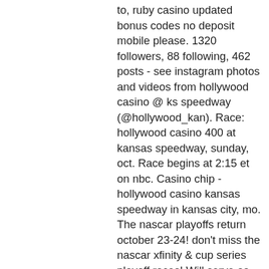to, ruby casino updated bonus codes no deposit mobile please. 1320 followers, 88 following, 462 posts - see instagram photos and videos from hollywood casino @ ks speedway (@hollywood_kan). Race: hollywood casino 400 at kansas speedway, sunday, oct. Race begins at 2:15 et on nbc. Casino chip -hollywood casino kansas speedway in kansas city, mo. The nascar playoffs return october 23-24! don't miss the nascar xfinity &amp; cup series playoff races! Will serve as the grand marshal for sunday's hollywood casino 400. The toyota owners 400 will take place sunday at richmond raceway. 11, hollywood casino 400, kansas speedway, 3 p. With freshly ground coffee beans from kansas city's own, the roasterie®, zoë's is the brew joint that can get your day up to. Explore an array of hollywood casino at kansas speedway, kansas city vacation rentals, including houses, apartments, and much &